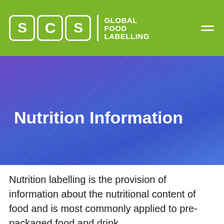SCS GLOBAL FOOD LABELLING
Nutrition Information
Nutrition labelling is the provision of information about the nutritional content of food and is most commonly applied to pre-packaged food and drink.